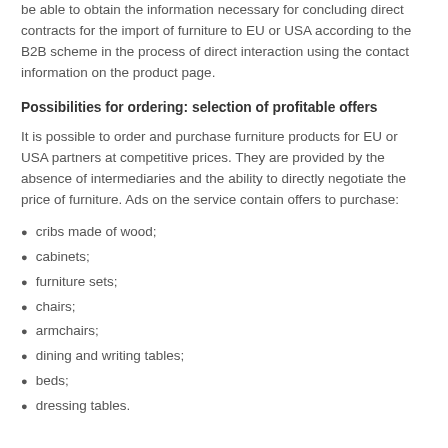be able to obtain the information necessary for concluding direct contracts for the import of furniture to EU or USA according to the B2B scheme in the process of direct interaction using the contact information on the product page.
Possibilities for ordering: selection of profitable offers
It is possible to order and purchase furniture products for EU or USA partners at competitive prices. They are provided by the absence of intermediaries and the ability to directly negotiate the price of furniture. Ads on the service contain offers to purchase:
cribs made of wood;
cabinets;
furniture sets;
chairs;
armchairs;
dining and writing tables;
beds;
dressing tables.